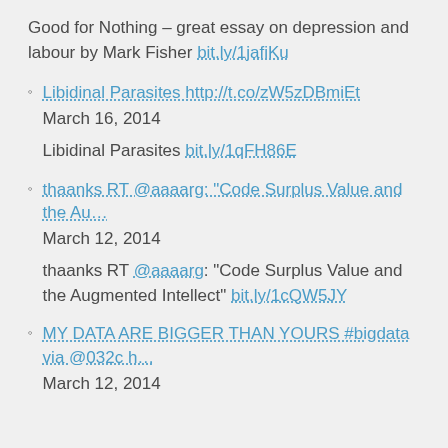Good for Nothing – great essay on depression and labour by Mark Fisher bit.ly/1jafiKu
Libidinal Parasites http://t.co/zW5zDBmiEt
March 16, 2014

Libidinal Parasites bit.ly/1qFH86E
thaanks RT @aaaarg: "Code Surplus Value and the Au…
March 12, 2014

thaanks RT @aaaarg: "Code Surplus Value and the Augmented Intellect" bit.ly/1cQW5JY
MY DATA ARE BIGGER THAN YOURS #bigdata via @032c h…
March 12, 2014